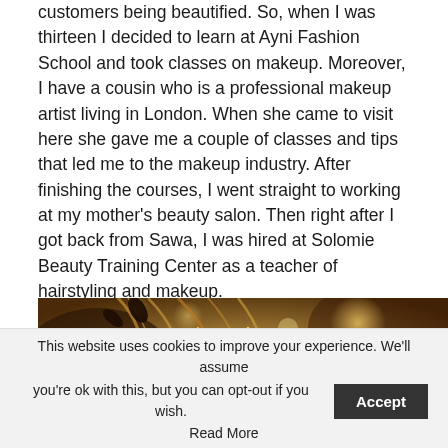customers being beautified. So, when I was thirteen I decided to learn at Ayni Fashion School and took classes on makeup. Moreover, I have a cousin who is a professional makeup artist living in London. When she came to visit here she gave me a couple of classes and tips that led me to the makeup industry. After finishing the courses, I went straight to working at my mother's beauty salon. Then right after I got back from Sawa, I was hired at Solomie Beauty Training Center as a teacher of hairstyling and makeup.
[Figure (photo): Close-up photo of golden/brown hair with glitter or gold dust, with bokeh background showing warm golden light spots]
This website uses cookies to improve your experience. We'll assume you're ok with this, but you can opt-out if you wish. Accept Read More